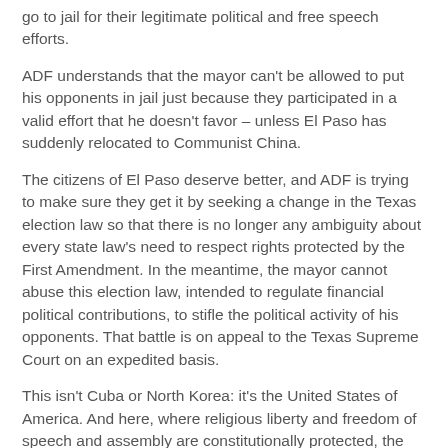go to jail for their legitimate political and free speech efforts.
ADF understands that the mayor can't be allowed to put his opponents in jail just because they participated in a valid effort that he doesn't favor – unless El Paso has suddenly relocated to Communist China.
The citizens of El Paso deserve better, and ADF is trying to make sure they get it by seeking a change in the Texas election law so that there is no longer any ambiguity about every state law's need to respect rights protected by the First Amendment. In the meantime, the mayor cannot abuse this election law, intended to regulate financial political contributions, to stifle the political activity of his opponents. That battle is on appeal to the Texas Supreme Court on an expedited basis.
This isn't Cuba or North Korea: it's the United States of America. And here, where religious liberty and freedom of speech and assembly are constitutionally protected, the will of the people takes precedence over the arrogance of those who wish to set up their own kingdoms.